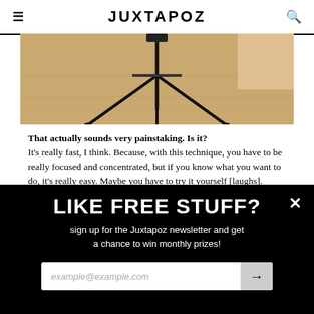JUXTAPOZ
[Figure (photo): Photo of a camera tripod on a wooden floor]
That actually sounds very painstaking. Is it?
It's really fast, I think. Because, with this technique, you have to be really focused and concentrated, but if you know what you want to do, it's really easy. Maybe you have to try it yourself [laughs].
This is why I call you El Medico. You're always so tidy and so well organized.
Yes, for this to work, you have to be really organized and have your tools always clean. I mean, I work from home, so I have to keep things very clean anyway. It's important that
LIKE FREE STUFF?
sign up for the Juxtapoz newsletter and get a chance to win monthly prizes!
example@example.com →